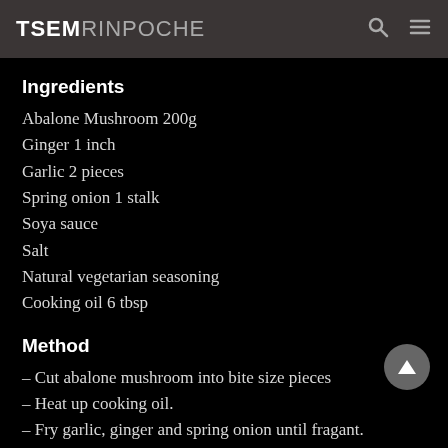TSEM RINPOCHE
Ingredients
Abalone Mushroom 200g
Ginger 1 inch
Garlic 2 pieces
Spring onion 1 stalk
Soya sauce
Salt
Natural vegetarian seasoning
Cooking oil 6 tbsp
Method
– Cut abalone mushroom into bite size pieces
– Heat up cooking oil.
– Fry garlic, ginger and spring onion until fragant.
– Add soya sauce.